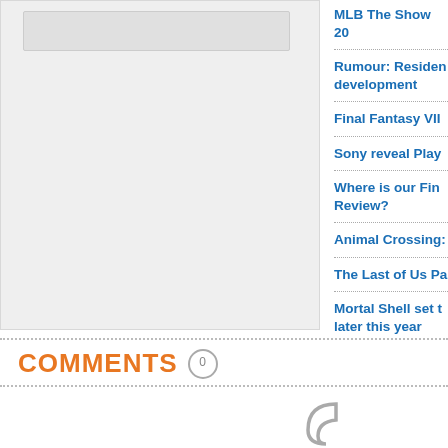[Figure (screenshot): Left panel with a gray placeholder box and a lighter inner bar at the top, representing a content/image area]
MLB The Show 20
Rumour: Resident... development
Final Fantasy VII...
Sony reveal Play...
Where is our Fina... Review?
Animal Crossing:
The Last of Us Pa...
Mortal Shell set t... later this year
COMMENTS 0
[Figure (illustration): Partial loading/quote icon in gray at the bottom center-right of the page]